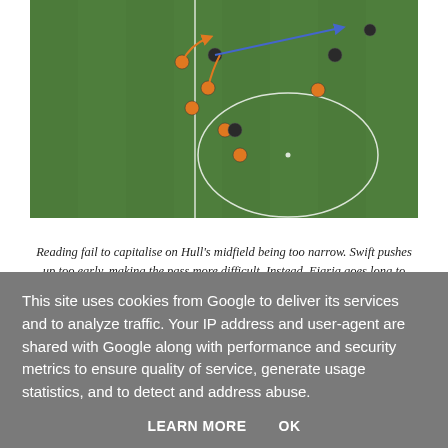[Figure (photo): Aerial view of a soccer/football match. Players in orange and dark kits on a green pitch. White circle marking (center circle) visible. Orange and blue tactical arrows drawn over the image showing player movements.]
Reading fail to capitalise on Hull's midfield being too narrow. Swift pushes up too early, making the pass more difficult. Instead, Ejaria goes long to Meite, who cannot hold the ball up, and there's nobody in the CAM space to attempt to pick up second balls (perhaps why Aluko is introduced)
This site uses cookies from Google to deliver its services and to analyze traffic. Your IP address and user-agent are shared with Google along with performance and security metrics to ensure quality of service, generate usage statistics, and to detect and address abuse.
LEARN MORE    OK